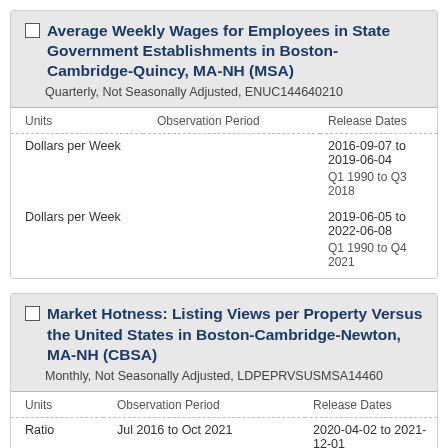Average Weekly Wages for Employees in State Government Establishments in Boston-Cambridge-Quincy, MA-NH (MSA)
Quarterly, Not Seasonally Adjusted, ENUC144640210
| Units | Observation Period | Release Dates |
| --- | --- | --- |
| Dollars per Week |  | 2016-09-07 to 2019-06-04 |
|  |  | Q1 1990 to Q3 2018 |
| Dollars per Week |  | 2019-06-05 to 2022-06-08 |
|  |  | Q1 1990 to Q4 2021 |
Market Hotness: Listing Views per Property Versus the United States in Boston-Cambridge-Newton, MA-NH (CBSA)
Monthly, Not Seasonally Adjusted, LDPEPRVSUSMSA14460
| Units | Observation Period | Release Dates |
| --- | --- | --- |
| Ratio | Jul 2016 to Oct 2021 | 2020-04-02 to 2021-12-01 |
| Ratio | Aug 2017 to Jul 2022 | 2021-12-02 to 2022-08-09 |